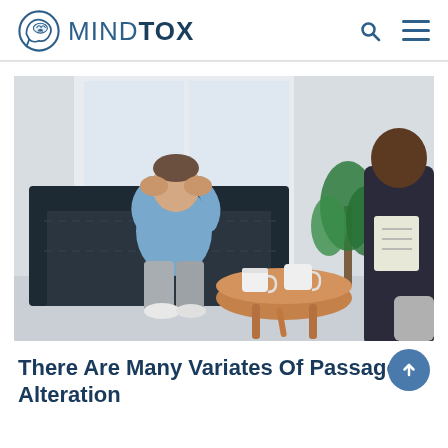MINDTOX
[Figure (photo): A man in a blue shirt sits on a dark leather sofa with his head in his hands, looking distressed, while another person (partially visible, wearing a dark suit) sits across from him. A round wooden coffee table with two white mugs is in the foreground. A green plant is in the background near a window.]
There Are Many Variates Of Passages Alteration